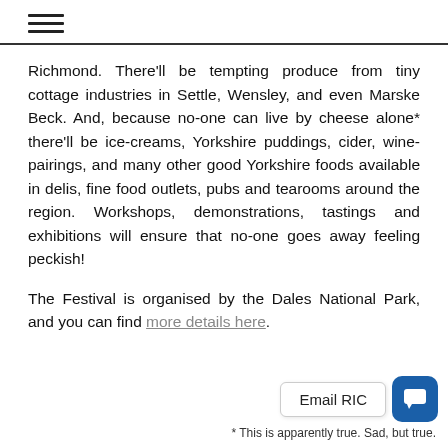≡
Richmond. There'll be tempting produce from tiny cottage industries in Settle, Wensley, and even Marske Beck. And, because no-one can live by cheese alone* there'll be ice-creams, Yorkshire puddings, cider, wine-pairings, and many other good Yorkshire foods available in delis, fine food outlets, pubs and tearooms around the region. Workshops, demonstrations, tastings and exhibitions will ensure that no-one goes away feeling peckish!
The Festival is organised by the Dales National Park, and you can find more details here.
* This is apparently true. Sad, but true.